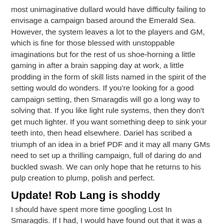most unimaginative dullard would have difficulty failing to envisage a campaign based around the Emerald Sea. However, the system leaves a lot to the players and GM, which is fine for those blessed with unstoppable imaginations but for the rest of us shoe-horning a little gaming in after a brain sapping day at work, a little prodding in the form of skill lists named in the spirit of the setting would do wonders. If you're looking for a good campaign setting, then Smaragdis will go a long way to solving that. If you like light rule systems, then they don't get much lighter. If you want something deep to sink your teeth into, then head elsewhere. Dariel has scribed a triumph of an idea in a brief PDF and it may all many GMs need to set up a thrilling campaign, full of daring do and buckled swash. We can only hope that he returns to his pulp creation to plump, polish and perfect.
Update! Rob Lang is shoddy
I should have spent more time googling Lost In Smaragdis. If I had, I would have found out that it was a 24hour RPG project in 2005, which makes the game even more astounding in my mind! I'm going to contact Dariel and try and persuade him to expand it. :)